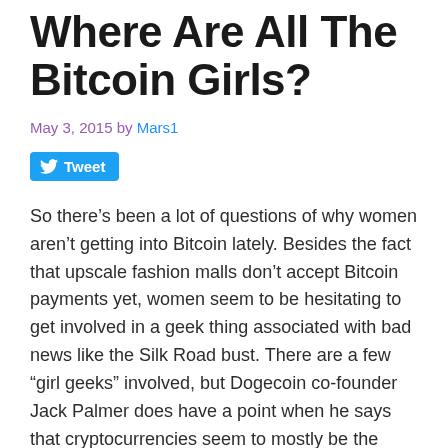Where Are All The Bitcoin Girls?
May 3, 2015 by Mars1
[Figure (other): Twitter Tweet button]
So there’s been a lot of questions of why women aren’t getting into Bitcoin lately. Besides the fact that upscale fashion malls don’t accept Bitcoin payments yet, women seem to be hesitating to get involved in a geek thing associated with bad news like the Silk Road bust. There are a few “girl geeks” involved, but Dogecoin co-founder Jack Palmer does have a point when he says that cryptocurrencies seem to mostly be the realm of cranky white male Libertarians with half-baked business schemes.